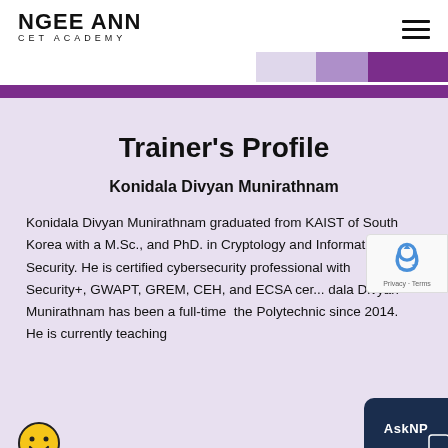NGEE ANN CET ACADEMY
Trainer's Profile
Konidala Divyan Munirathnam
Konidala Divyan Munirathnam graduated from KAIST of South Korea with a M.Sc., and PhD. in Cryptology and Information Security. He is certified cybersecurity professional with Security+, GWAPT, GREM, CEH, and ECSA cer... Konidala Divyan Munirathnam has been a full-time ... the Polytechnic since 2014. He is currently teaching